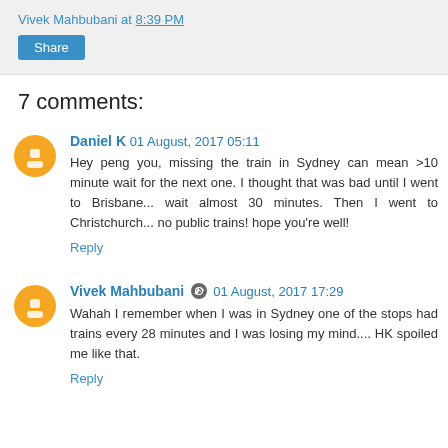Vivek Mahbubani at 8:39 PM
Share
7 comments:
Daniel K 01 August, 2017 05:11
Hey peng you, missing the train in Sydney can mean >10 minute wait for the next one. I thought that was bad until I went to Brisbane... wait almost 30 minutes. Then I went to Christchurch... no public trains! hope you're well!
Reply
Vivek Mahbubani 01 August, 2017 17:29
Wahah I remember when I was in Sydney one of the stops had trains every 28 minutes and I was losing my mind.... HK spoiled me like that.
Reply